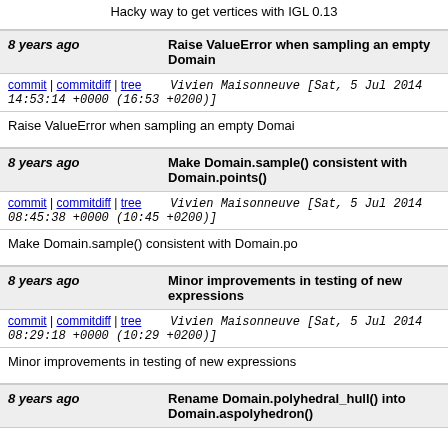Hacky way to get vertices with IGL 0.13
8 years ago   Raise ValueError when sampling an empty Domain
commit | commitdiff | tree   Vivien Maisonneuve [Sat, 5 Jul 2014 14:53:14 +0000 (16:53 +0200)]
Raise ValueError when sampling an empty Domain
8 years ago   Make Domain.sample() consistent with Domain.points()
commit | commitdiff | tree   Vivien Maisonneuve [Sat, 5 Jul 2014 08:45:38 +0000 (10:45 +0200)]
Make Domain.sample() consistent with Domain.po
8 years ago   Minor improvements in testing of new expressions
commit | commitdiff | tree   Vivien Maisonneuve [Sat, 5 Jul 2014 08:29:18 +0000 (10:29 +0200)]
Minor improvements in testing of new expressions
8 years ago   Rename Domain.polyhedral_hull() into Domain.aspolyhedron()